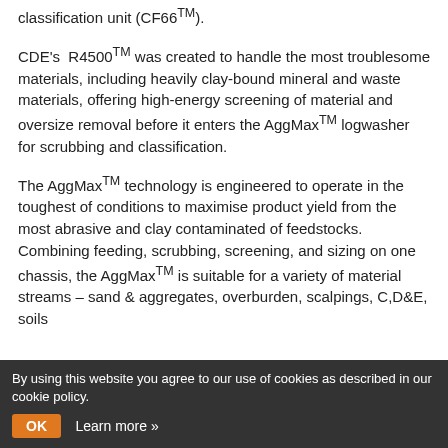classification unit (CF66™).
CDE's R4500™ was created to handle the most troublesome materials, including heavily clay-bound mineral and waste materials, offering high-energy screening of material and oversize removal before it enters the AggMax™ logwasher for scrubbing and classification.
The AggMax™ technology is engineered to operate in the toughest of conditions to maximise product yield from the most abrasive and clay contaminated of feedstocks. Combining feeding, scrubbing, screening, and sizing on one chassis, the AggMax™ is suitable for a variety of material streams – sand & aggregates, overburden, scalpings, C,D&E, soils
By using this website you agree to our use of cookies as described in our cookie policy.